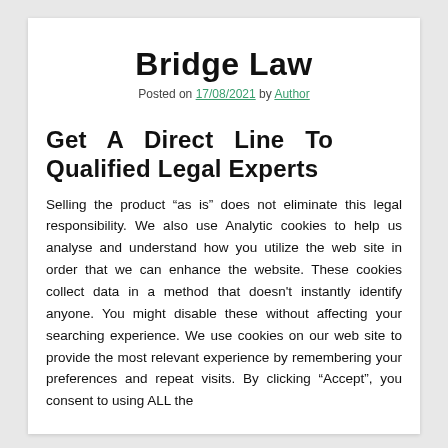Bridge Law
Posted on 17/08/2021 by Author
Get A Direct Line To Qualified Legal Experts
Selling the product “as is” does not eliminate this legal responsibility. We also use Analytic cookies to help us analyse and understand how you utilize the web site in order that we can enhance the website. These cookies collect data in a method that doesn't instantly identify anyone. You might disable these without affecting your searching experience. We use cookies on our web site to provide the most relevant experience by remembering your preferences and repeat visits. By clicking “Accept”, you consent to using ALL the